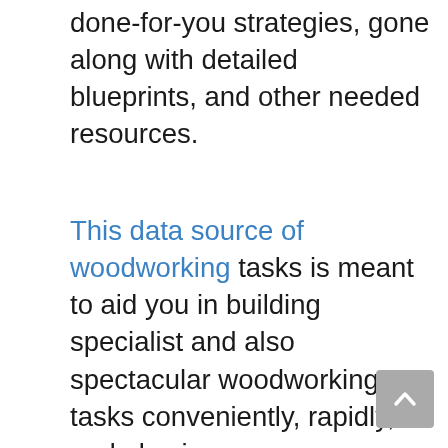done-for-you strategies, gone along with detailed blueprints, and other needed resources.
This data source of woodworking tasks is meant to aid you in building specialist and also spectacular woodworking tasks conveniently, rapidly, and also in an easy approach.
Ted and also his team conduct workshop classes month-to-month and also take customized requests for some special projects.
By purchasing the woodworking programs, you will certainly be qualified to get life